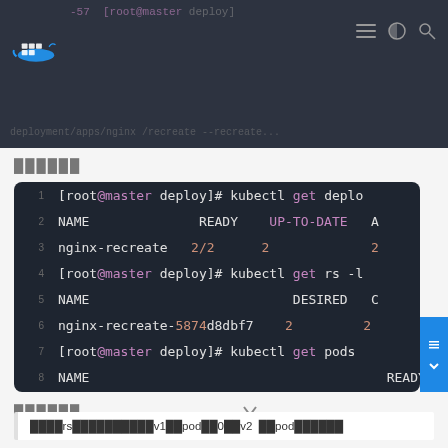[Figure (screenshot): Top navigation bar with Docker logo and blurred terminal/URL text on dark background]
██████
[Figure (screenshot): Terminal code block showing kubectl get deployments, rs, and pods commands with output for nginx-recreate]
██████
████rs██████████v1██pod██0██v2 ██pod██████